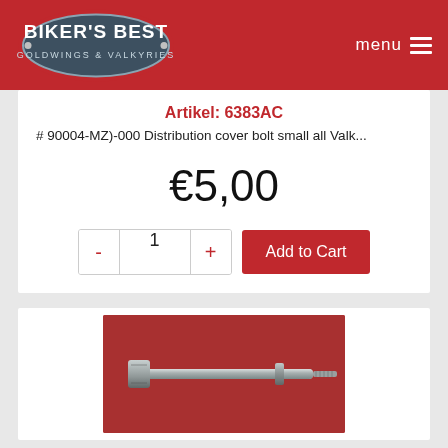BIKER'S BEST GOLDWINGS & VALKYRIES — menu
Artikel: 6383AC
# 90004-MZ)-000 Distribution cover bolt small all Valk...
€5,00
- 1 + Add to Cart
[Figure (photo): A silver distribution cover bolt (small) against a red background, showing the full length of the bolt with washer.]